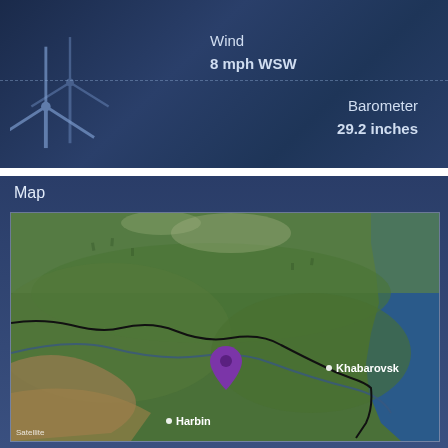[Figure (infographic): Wind turbines silhouette icon on dark blue gradient background with wind speed and barometer readings]
Wind
8 mph WSW
Barometer
29.2 inches
Map
[Figure (map): Satellite map showing region around Khabarovsk, Russia and Harbin, China with a purple location pin marker in the center-left area and a black border line indicating national/regional boundary]